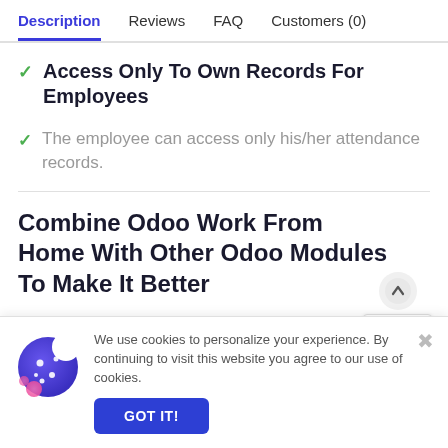Description | Reviews | FAQ | Customers (0)
Access Only To Own Records For Employees
The employee can access only his/her attendance records.
Combine Odoo Work From Home With Other Odoo Modules To Make It Better
We use cookies to personalize your experience. By continuing to visit this website you agree to our use of cookies.